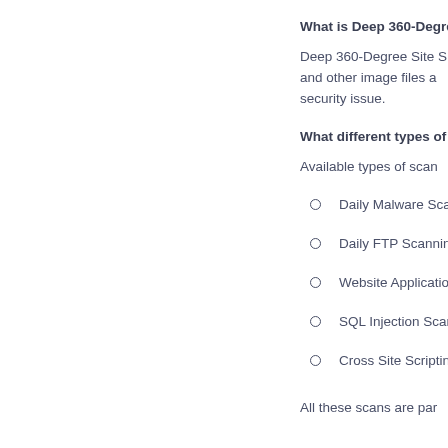What is Deep 360-Degree
Deep 360-Degree Site S and other image files a security issue.
What different types of s
Available types of scan
Daily Malware Sca
Daily FTP Scanning
Website Applicatio
SQL Injection Scan
Cross Site Scriptin
All these scans are par